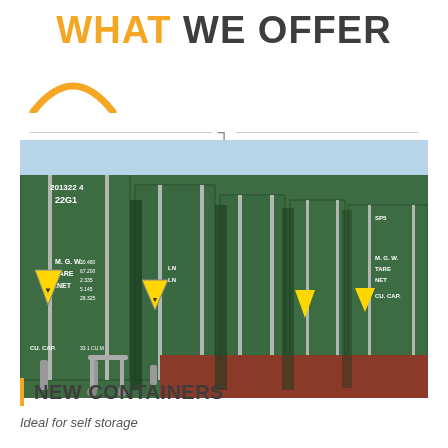WHAT WE OFFER
[Figure (photo): Row of green shipping containers with metal locking rods and yellow hazard triangle markings. Red ground cover visible. Text on containers includes M.G.W., TARE, NET, CU.CAP.]
NEW CONTAINERS
Ideal for self storage